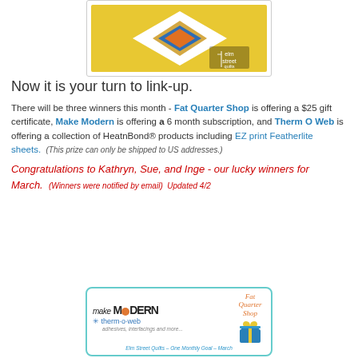[Figure (photo): A yellow quilt with white diamond shape and blue/orange inner diamond pattern, displayed on a wooden surface. Elm Street Quilts watermark in bottom right corner.]
Now it is your turn to link-up.
There will be three winners this month - Fat Quarter Shop is offering a $25 gift certificate, Make Modern is offering a 6 month subscription, and Therm O Web is offering a collection of HeatnBond® products including EZ print Featherlite sheets. (This prize can only be shipped to US addresses.)
Congratulations to Kathryn, Sue, and Inge - our lucky winners for March. (Winners were notified by email)  Updated 4/2
[Figure (logo): Advertisement banner showing Make Modern magazine logo, therm-o-web logo with tagline 'adhesives, interfacings and more...', and Fat Quarter Shop logo with gift box icon. Footer reads: Elm Street Quilts - One Monthly Goal - March]